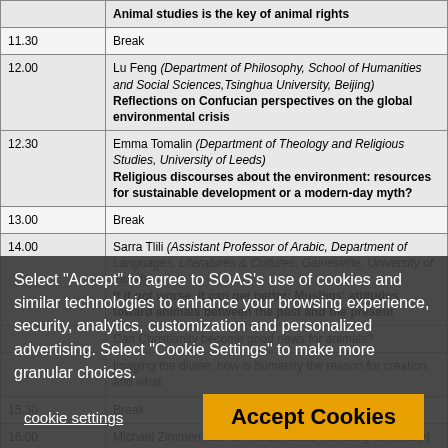| Time | Speaker / Talk |
| --- | --- |
|  | Animal studies is the key of animal rights |
| 11.30 | Break |
| 12.00 | Lu Feng (Department of Philosophy, School of Humanities and Social Sciences, Tsinghua University, Beijing)
Reflections on Confucian perspectives on the global environmental crisis |
| 12.30 | Emma Tomalin (Department of Theology and Religious Studies, University of Leeds)
Religious discourses about the environment: resources for sustainable development or a modern-day myth? |
| 13.00 | Break |
| 14.00 | Sarra Tlili (Assistant Professor of Arabic, Department of Languages, Literatures & Cultures, Gainesville, University of Florida)
If it got worse, it can get better: Muslims' attitudes toward animals between the past and the present |
|  | Can Christianity become good news for animals? |
|  | Imaging the divine: how is humanity the reason for creation, and what... |
| 15.30 | Break |
| 16.00 | Michael Zimmermann ... Afrika Institut, Hamburg University |
Select "Accept" to agree to SOAS's use of cookies and similar technologies to enhance your browsing experience, security, analytics, customization and personalized advertising. Select "Cookie Settings" to make more granular choices.